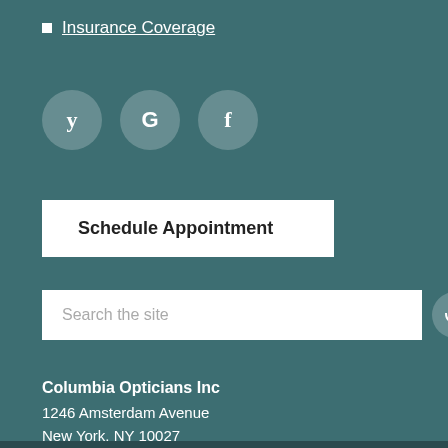Insurance Coverage
[Figure (infographic): Three social media icon circles: Yelp, Google, Facebook]
Schedule Appointment
Search the site
Columbia Opticians Inc
1246 Amsterdam Avenue
New York, NY 10027
Phone: 212-316-2020
https://www.drallonvision.com